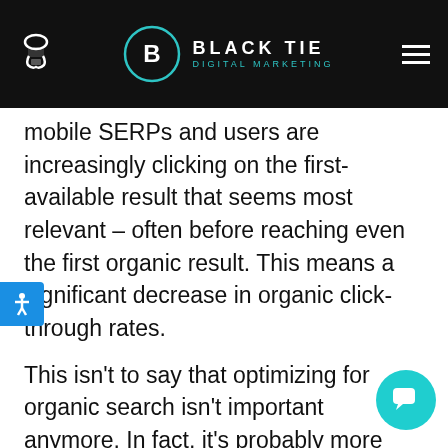Black Tie Digital Marketing — navigation header
mobile SERPs and users are increasingly clicking on the first-available result that seems most relevant – often before reaching even the first organic result. This means a significant decrease in organic click-through rates.
This isn't to say that optimizing for organic search isn't important anymore. In fact, it's probably more important than ever, since Google uses quality, authentic, user-focused content for new SERP features such as rich answers. Optimize your page correctly, and may reap the benefit of being Google's go-to